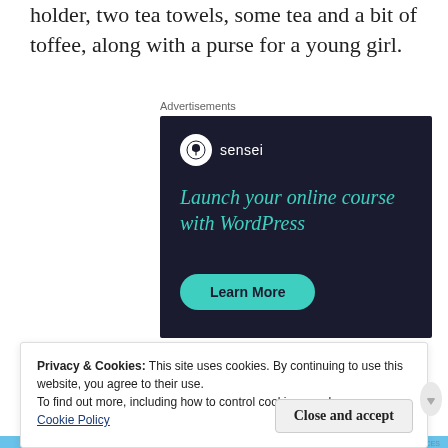holder, two tea towels, some tea and a bit of toffee, along with a purse for a young girl.
Advertisements
[Figure (other): Sensei advertisement banner on dark navy background. Shows Sensei logo (tree icon in circle) with tagline 'Launch your online course with WordPress' in teal italic text, and a teal 'Learn More' button.]
Privacy & Cookies: This site uses cookies. By continuing to use this website, you agree to their use.
To find out more, including how to control cookies, see here:
Cookie Policy
Close and accept